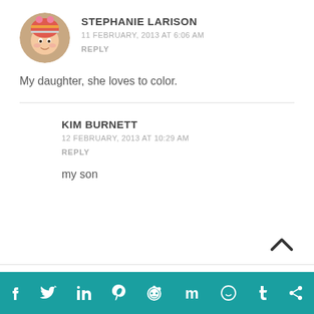[Figure (photo): Round avatar photo of a baby wearing a colorful knit owl hat, smiling]
STEPHANIE LARISON
11 FEBRUARY, 2013 AT 6:06 AM
REPLY
My daughter, she loves to color.
KIM BURNETT
12 FEBRUARY, 2013 AT 10:29 AM
REPLY
my son
[Figure (infographic): Social media sharing bar with icons: Facebook, Twitter, LinkedIn, Pinterest, Reddit, Mix, WhatsApp, Tumblr, Share]